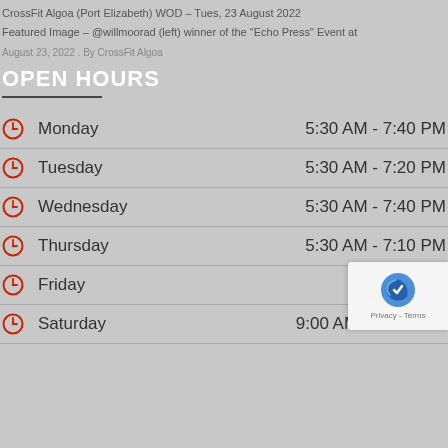CrossFit Algoa (Port Elizabeth) WOD – Tues, 23 August 2022
Featured Image – @willmoorad (left) winner of the "Echo Press" Event at
August 23, 2022 . By CrossFit Algoa
OPEN HOURS
Monday  5:30 AM - 7:40 PM
Tuesday  5:30 AM - 7:20 PM
Wednesday  5:30 AM - 7:40 PM
Thursday  5:30 AM - 7:10 PM
Friday  5:30 AM
Saturday  9:00 AM - 12:00 PM